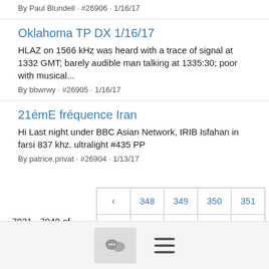By Paul Blundell · #26906 · 1/16/17
Oklahoma TP DX 1/16/17
HLAZ on 1566 kHz was heard with a trace of signal at 1332 GMT; barely audible man talking at 1335:30; poor with musical...
By bbwrwy · #26905 · 1/16/17
21émE fréquence Iran
Hi Last night under BBC Asian Network, IRIB Isfahan in farsi 837 khz. ultralight #435 PP
By patrice.privat · #26904 · 1/13/17
7021 - 7040 of 33866